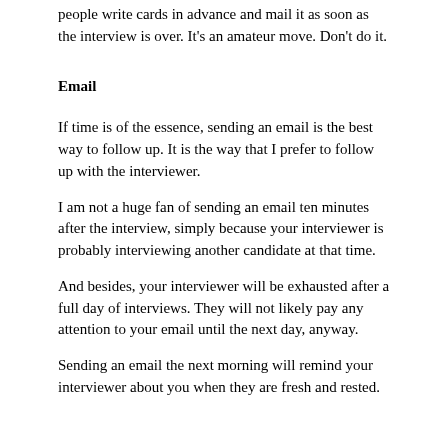people write cards in advance and mail it as soon as the interview is over. It's an amateur move. Don't do it.
Email
If time is of the essence, sending an email is the best way to follow up. It is the way that I prefer to follow up with the interviewer.
I am not a huge fan of sending an email ten minutes after the interview, simply because your interviewer is probably interviewing another candidate at that time.
And besides, your interviewer will be exhausted after a full day of interviews. They will not likely pay any attention to your email until the next day, anyway.
Sending an email the next morning will remind your interviewer about you when they are fresh and rested.